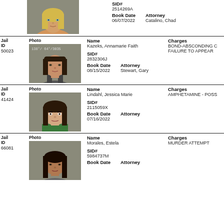[Figure (photo): Mugshot of blonde woman, partial record at top of page]
SID# 2514269A Book Date 06/07/2022 Attorney Catalino, Chad
| Jail ID | Photo | Name | Charges |
| --- | --- | --- | --- |
| 50023 | [photo] | Kazeks, Annamarie Faith | BOND-ABSCONDING C FAILURE TO APPEAR |
| 41424 | [photo] | Lindahl, Jessica Marie | AMPHETAMINE - POSS |
| 66081 | [photo] | Morales, Estela | MURDER ATTEMPT |
SID# 2832306J Book Date 08/15/2022 Attorney Stewart, Gary
SID# 2115059X Book Date 07/16/2022 Attorney
SID# 5984737M Book Date Attorney